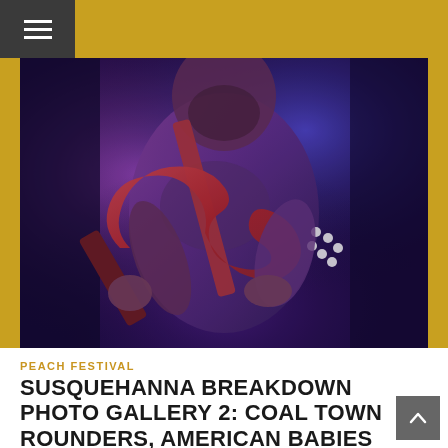≡ (hamburger menu)
[Figure (photo): A male guitarist performing on stage under purple and blue concert lighting, playing a red electric guitar while wearing a grey t-shirt with a guitar strap across his chest, looking upward.]
PEACH FESTIVAL
SUSQUEHANNA BREAKDOWN PHOTO GALLERY 2: COAL TOWN ROUNDERS, AMERICAN BABIES & MORE